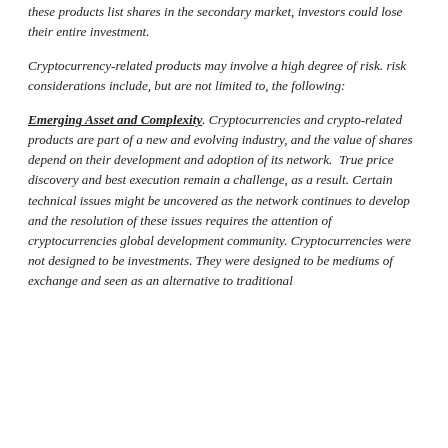these products list shares in the secondary market, investors could lose their entire investment.
Cryptocurrency-related products may involve a high degree of risk. risk considerations include, but are not limited to, the following:
Emerging Asset and Complexity. Cryptocurrencies and crypto-related products are part of a new and evolving industry, and the value of shares depend on their development and adoption of its network. True price discovery and best execution remain a challenge, as a result. Certain technical issues might be uncovered as the network continues to develop and the resolution of these issues requires the attention of cryptocurrencies global development community. Cryptocurrencies were not designed to be investments. They were designed to be mediums of exchange and seen as an alternative to traditional